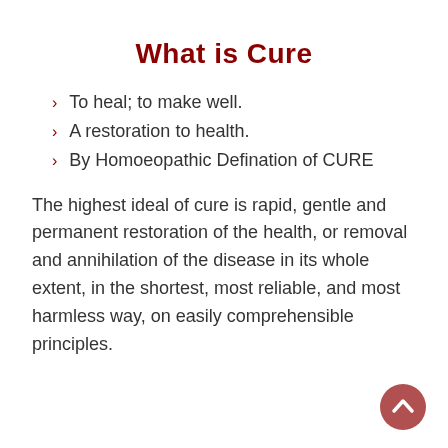What is Cure
To heal; to make well.
A restoration to health.
By Homoeopathic Defination of CURE
The highest ideal of cure is rapid, gentle and permanent restoration of the health, or removal and annihilation of the disease in its whole extent, in the shortest, most reliable, and most harmless way, on easily comprehensible principles.